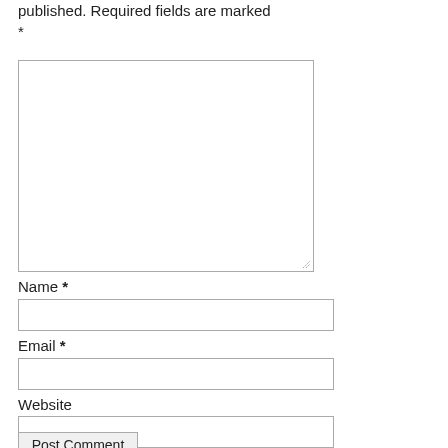published. Required fields are marked *
[Figure (screenshot): Large empty textarea comment input box with resize handle in bottom-right corner]
Name *
[Figure (screenshot): Text input field for Name]
Email *
[Figure (screenshot): Text input field for Email]
Website
[Figure (screenshot): Text input field for Website]
Post Comment